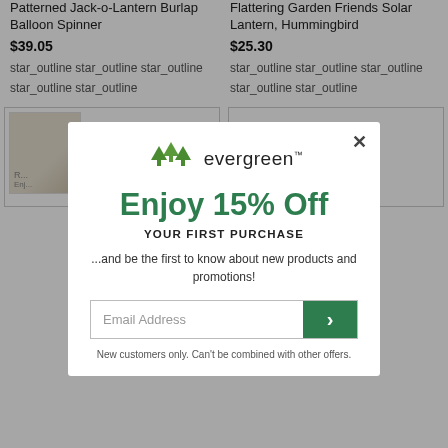Patterned Jack-o-Lantern Burlap Balloon Spinner
$39.05
star_outline star_outline star_outline star_outline star_outline
Flattering Garden Friends Solar Lantern, Hummingbird
$25.30
star_outline star_outline star_outline star_outline star_outline
[Figure (screenshot): Evergreen brand promotional popup modal with 15% off discount offer for first purchase, email signup form, and close button]
Enjoy 15% Off
YOUR FIRST PURCHASE
...and be the first to know about new products and promotions!
Email Address
New customers only. Can't be combined with other offers.